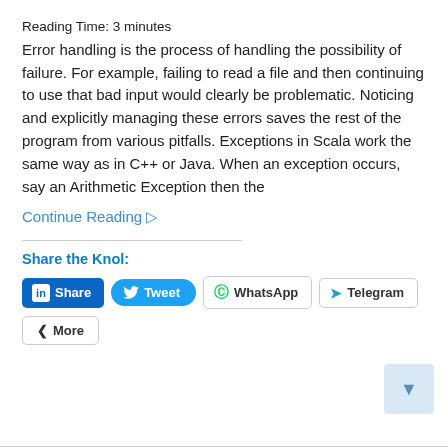Reading Time: 3 minutes
Error handling is the process of handling the possibility of failure. For example, failing to read a file and then continuing to use that bad input would clearly be problematic. Noticing and explicitly managing these errors saves the rest of the program from various pitfalls. Exceptions in Scala work the same way as in C++ or Java. When an exception occurs, say an Arithmetic Exception then the
Continue Reading ▷
Share the Knol:
Share
Tweet
WhatsApp
Telegram
More